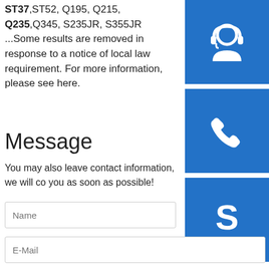ST37,ST52, Q195, Q215, Q235,Q345, S235JR, S355JR ...Some results are removed in response to a notice of local law requirement. For more information, please see here.
Message
You may also leave contact information, we will contact you as soon as possible!
[Figure (infographic): Three blue square icon buttons stacked vertically on the right side: a customer support/headset icon, a phone icon, and a Skype icon.]